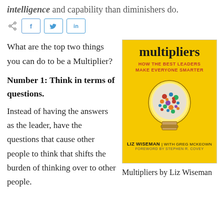intelligence and capability than diminishers do.
[Figure (other): Social share bar with share icon, Facebook (f), Twitter (bird/t), and LinkedIn (in) buttons]
What are the top two things you can do to be a Multiplier?
[Figure (illustration): Book cover of 'Multipliers: How the Best Leaders Make Everyone Smarter' by Liz Wiseman with Greg McKeown, foreword by Stephen R. Covey. Yellow cover with a light bulb filled with faces of people.]
Number 1: Think in terms of questions.
Instead of having the answers as the leader, have the questions that cause other people to think that shifts the burden of thinking over to other people.
Multipliers by Liz Wiseman